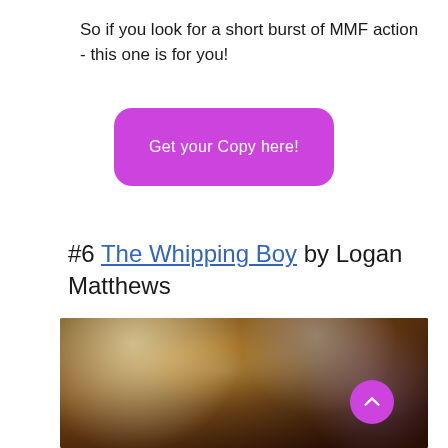So if you look for a short burst of MMF action - this one is for you!
[Figure (other): Purple rounded rectangle button with text 'Get your Copy here!']
#6 The Whipping Boy by Logan Matthews
[Figure (photo): Close-up photo of a person's hair with warm yellow and brown tones, bokeh background with soft light spots]